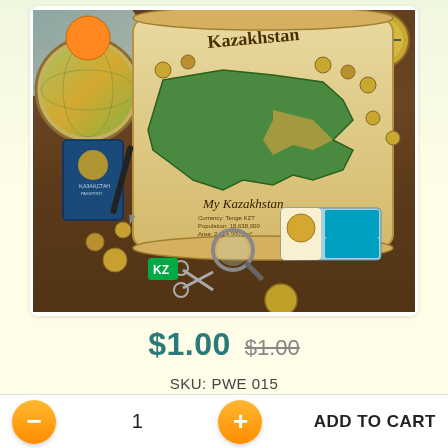[Figure (photo): Product photo showing a Kazakhstan-themed gift set with a decorative scroll map of Kazakhstan, coins, a passport, pen, magnifying glass, and a small card with the Kazakhstan flag and a coin on a wooden table background.]
$1.00  $1.00
SKU: PWE 015
Qty
3
- 1 + ADD TO CART